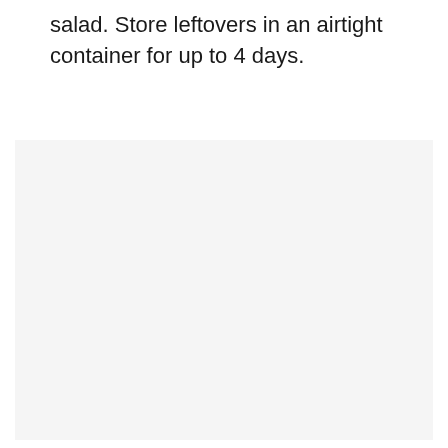salad. Store leftovers in an airtight container for up to 4 days.
[Figure (photo): Large light gray/off-white blank image area, mostly empty with a subtle warm background color.]